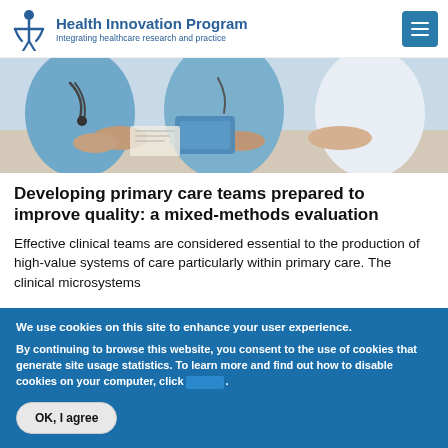Health Innovation Program — Integrating healthcare research and practice
[Figure (photo): Photo of clinical team members in scrubs and white coats sitting around a table, reviewing documents and a clipboard. Medical professionals appear to be in a meeting or consultation.]
Developing primary care teams prepared to improve quality: a mixed-methods evaluation
Effective clinical teams are considered essential to the production of high-value systems of care particularly within primary care. The clinical microsystems
We use cookies on this site to enhance your user experience.

By continuing to browse this website, you consent to the use of cookies that generate site usage statistics. To learn more and find out how to disable cookies on your computer, click [here].
OK, I agree